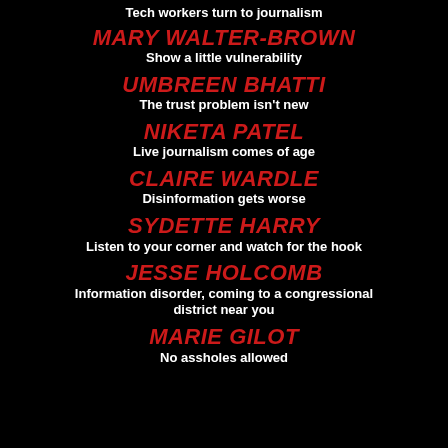Tech workers turn to journalism
MARY WALTER-BROWN
Show a little vulnerability
UMBREEN BHATTI
The trust problem isn't new
NIKETA PATEL
Live journalism comes of age
CLAIRE WARDLE
Disinformation gets worse
SYDETTE HARRY
Listen to your corner and watch for the hook
JESSE HOLCOMB
Information disorder, coming to a congressional district near you
MARIE GILOT
No assholes allowed